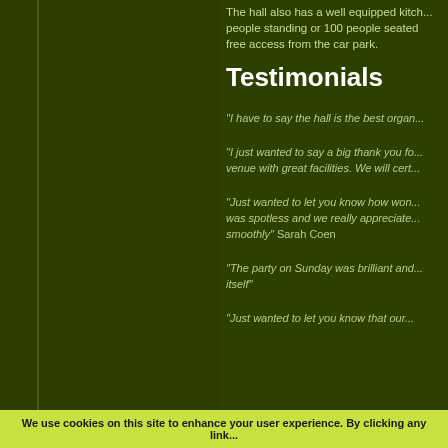The hall also has a well equipped kitch... people standing or 100 people seated... free access from the car park.
Testimonials
"I have to say the hall is the best organ..."
"I just wanted to say a big thank you fo... venue with great facilities. We will cert..."
"Just wanted to let you know how won... was spotless and we really appreciate... smoothly" Sarah Coen
"The party on Sunday was brilliant and... itself"
"Just wanted to let you know that our..."
We use cookies on this site to enhance your user experience. By clicking any link...